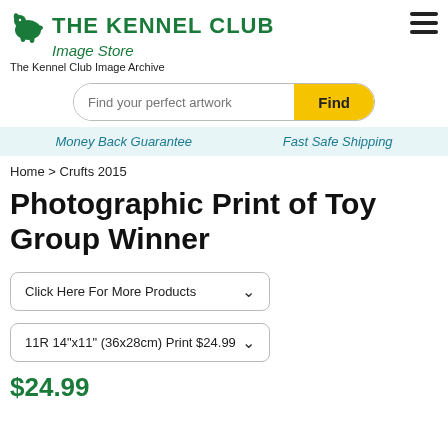THE KENNEL CLUB Image Store
The Kennel Club Image Archive
Find your perfect artwork
Money Back Guarantee   Fast Safe Shipping
Home > Crufts 2015
Photographic Print of Toy Group Winner
Click Here For More Products
11R 14"x11" (36x28cm) Print $24.99
$24.99